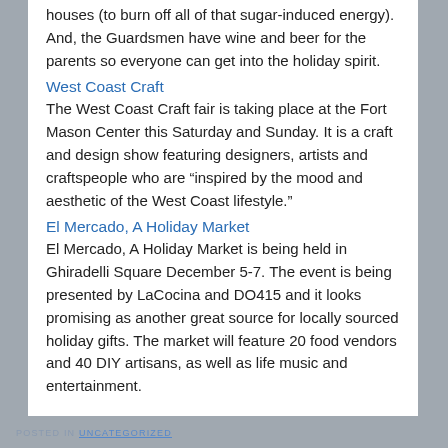houses (to burn off all of that sugar-induced energy).  And, the Guardsmen have wine and beer for the parents so everyone can get into the holiday spirit.
West Coast Craft
The West Coast Craft fair is taking place at the Fort Mason Center this Saturday and Sunday.  It is a craft and design show featuring designers, artists and craftspeople who are “inspired by the mood and aesthetic of the West Coast lifestyle.”
El Mercado, A Holiday Market
El Mercado, A Holiday Market is being held in Ghiradelli Square December 5-7.  The event is being presented by LaCocina and DO415 and it looks promising as another great source for locally sourced holiday gifts.  The market will feature 20 food vendors and 40 DIY artisans, as well as life music and entertainment.
POSTED IN UNCATEGORIZED